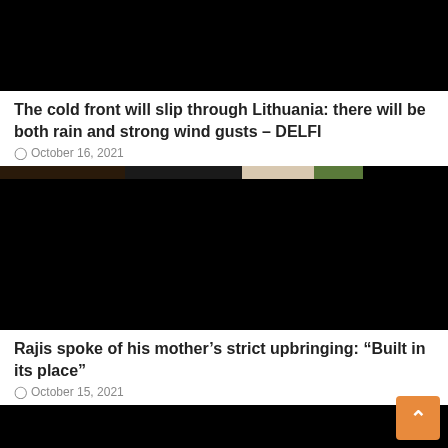[Figure (photo): Article thumbnail image, mostly black/dark]
The cold front will slip through Lithuania: there will be both rain and strong wind gusts – DELFI
October 16, 2021
[Figure (photo): Article thumbnail image showing top of a person's head, mostly black]
Rajis spoke of his mother's strict upbringing: “Built in its place”
October 15, 2021
[Figure (photo): Partial article thumbnail image, black]